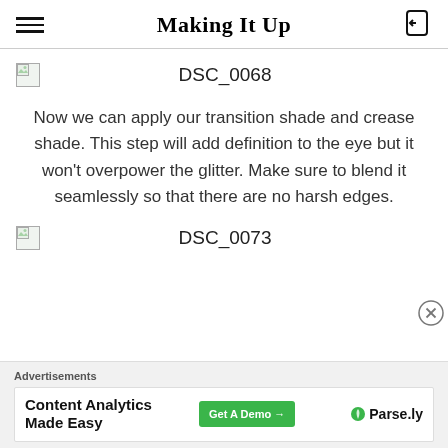Making It Up
[Figure (photo): Broken image placeholder with filename DSC_0068]
Now we can apply our transition shade and crease shade. This step will add definition to the eye but it won't overpower the glitter. Make sure to blend it seamlessly so that there are no harsh edges.
[Figure (photo): Broken image placeholder with filename DSC_0073]
Advertisements
Content Analytics Made Easy  Get A Demo →  Parse.ly